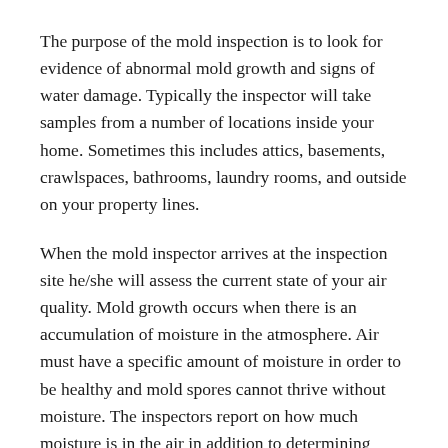The purpose of the mold inspection is to look for evidence of abnormal mold growth and signs of water damage. Typically the inspector will take samples from a number of locations inside your home. Sometimes this includes attics, basements, crawlspaces, bathrooms, laundry rooms, and outside on your property lines.
When the mold inspector arrives at the inspection site he/she will assess the current state of your air quality. Mold growth occurs when there is an accumulation of moisture in the atmosphere. Air must have a specific amount of moisture in order to be healthy and mold spores cannot thrive without moisture. The inspectors report on how much moisture is in the air in addition to determining whether any structural damage exists, and if so, whether it is in a state that can be remedied. It is